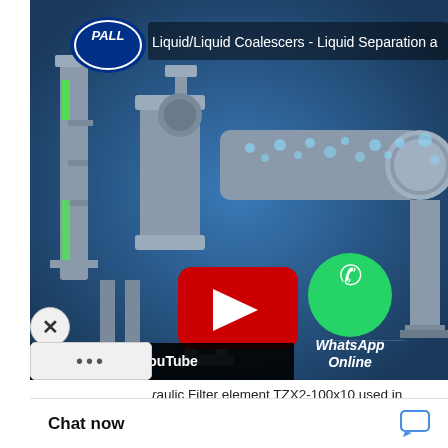[Figure (screenshot): YouTube video thumbnail showing a Pall Corporation liquid/liquid coalescer industrial filtration system animation. Title reads 'Liquid/Liquid Coalescers - Liquid Separation a'. The image shows 3D rendered industrial filter equipment with blue background, a red YouTube play button in the center, and a WhatsApp Online button on the right side. A black bar at the bottom shows 'h on YouTube'. An X close button and a more-options (...) button are overlaid at the bottom left.]
raulic Filter element TZX2-100x10 used in Return line filter ZU-A100X10P Video
Chat now